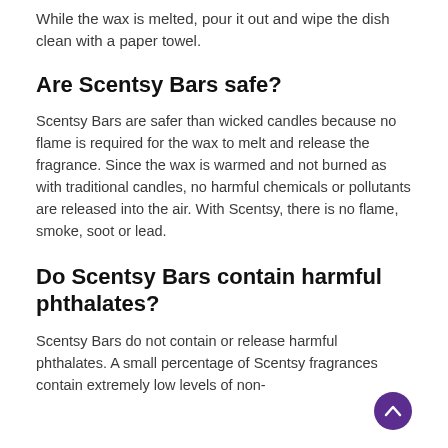While the wax is melted, pour it out and wipe the dish clean with a paper towel.
Are Scentsy Bars safe?
Scentsy Bars are safer than wicked candles because no flame is required for the wax to melt and release the fragrance. Since the wax is warmed and not burned as with traditional candles, no harmful chemicals or pollutants are released into the air. With Scentsy, there is no flame, smoke, soot or lead.
Do Scentsy Bars contain harmful phthalates?
Scentsy Bars do not contain or release harmful phthalates. A small percentage of Scentsy fragrances contain extremely low levels of non-